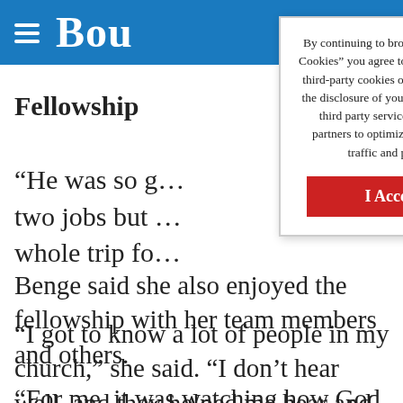Bou
Fellowship
“He was so g… two jobs but … whole trip fo…
[Figure (screenshot): Cookie consent overlay dialog reading: By continuing to browse or by clicking “I Accept Cookies” you agree to the storing of first-party and third-party cookies on your device and consent to the disclosure of your personal information to our third party service providers or advertising partners to optimize your experience, analyze traffic and personalize content. Button: I Accept Cookies]
Benge said she also enjoyed the fellowship with her team members and others.
“I got to know a lot of people in my church,” she said. “I don’t hear well, and they helped me hear and told me what was going on.”
“For me, it was watching how God worked…